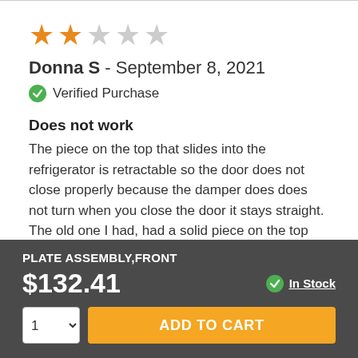[Figure (other): 2 out of 5 stars rating (2 filled orange stars, 3 empty gray stars)]
Donna S - September 8, 2021
Verified Purchase
Does not work
The piece on the top that slides into the refrigerator is retractable so the door does not close properly because the damper does does not turn when you close the door it stays straight. The old one I had, had a solid piece on the top which slide into the slot and turned the damper.
PLATE ASSEMBLY,FRONT
$132.41
In Stock
ADD TO CART